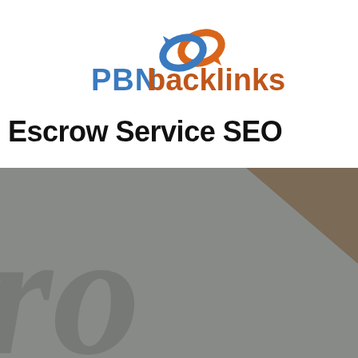[Figure (logo): PBN backlinks logo with two interlinked chain rings in blue and orange, with text 'PBN' in blue and 'backlinks' in orange/dark]
Escrow Service SEO
[Figure (illustration): Grey background section with a brown/tan triangular shape in the top right corner and large faded italic watermark text visible at the bottom left]